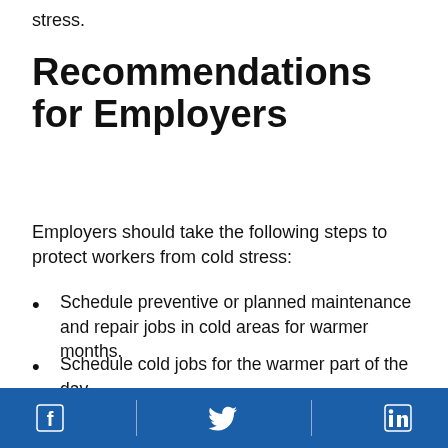stress.
Recommendations for Employers
Employers should take the following steps to protect workers from cold stress:
Schedule preventive or planned maintenance and repair jobs in cold areas for warmer months.
Schedule cold jobs for the warmer part of the day.
Use relief workers or assign extra workers for long, demanding jobs in cold temperatures.
Facebook | Twitter | LinkedIn